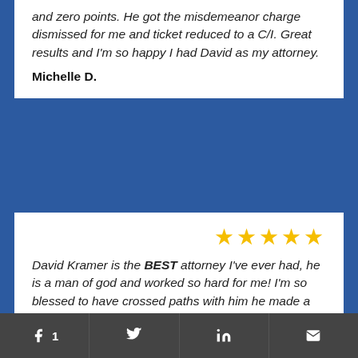and zero points. He got the misdemeanor charge dismissed for me and ticket reduced to a C/I. Great results and I'm so happy I had David as my attorney.
Michelle D.
[Figure (other): Five yellow star rating icons]
David Kramer is the BEST attorney I've ever had, he is a man of god and worked so hard for me! I'm so blessed to have crossed paths with him he made a HUGE difference